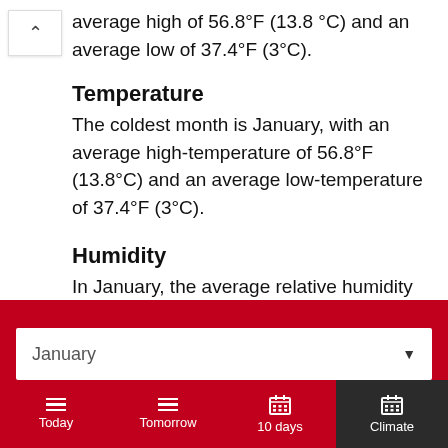average high of 56.8°F (13.8°C) and an average low of 37.4°F (3°C).
Temperature
The coldest month is January, with an average high-temperature of 56.8°F (13.8°C) and an average low-temperature of 37.4°F (3°C).
Humidity
In January, the average relative humidity in Marathon, Texas, is 44%.
January
Today  Tomorrow  10 days  Climate